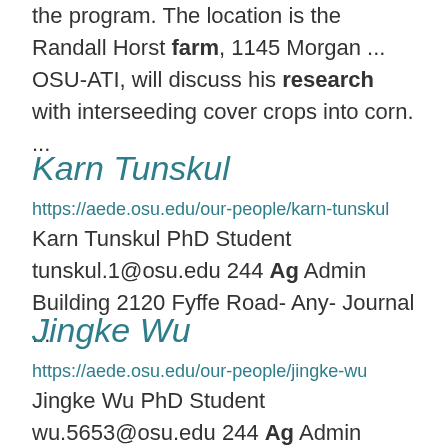the program. The location is the Randall Horst farm, 1145 Morgan ... OSU-ATI, will discuss his research with interseeding cover crops into corn. ...
Karn Tunskul
https://aede.osu.edu/our-people/karn-tunskul
Karn Tunskul PhD Student
tunskul.1@osu.edu 244 Ag Admin Building 2120 Fyffe Road- Any- Journal ...
Jingke Wu
https://aede.osu.edu/our-people/jingke-wu
Jingke Wu PhD Student
wu.5653@osu.edu 244 Ag Admin